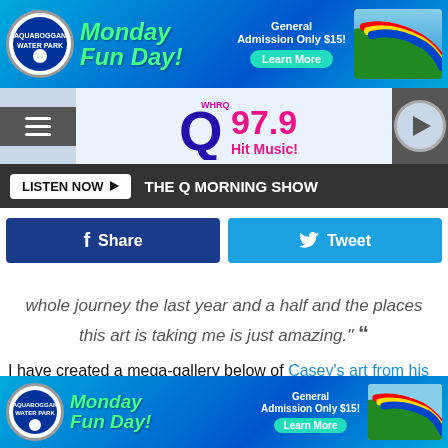[Figure (infographic): Top advertisement banner: Aquaboggan Water Park Monday Fun Day! General Admission Only $15! Learn More button, with colorful water slide image on right]
[Figure (logo): Q97.9 Hit Music radio station logo in navigation bar with hamburger menu on left and play button on right]
LISTEN NOW ▶  THE Q MORNING SHOW
f Share   🐦 Tweet
whole journey the last year and a half and the places this art is taking me is just amazing." »
I have created a mega-gallery below of Casey's art from his Instagram page.
Mainer's Art Inspiration While Getting Sober Lead to Life-Changing Journey
[Figure (infographic): Bottom advertisement banner: Aquaboggan Water Park Monday Fun Day! General Admission Only $15! Learn More button, with colorful water slide image on right]